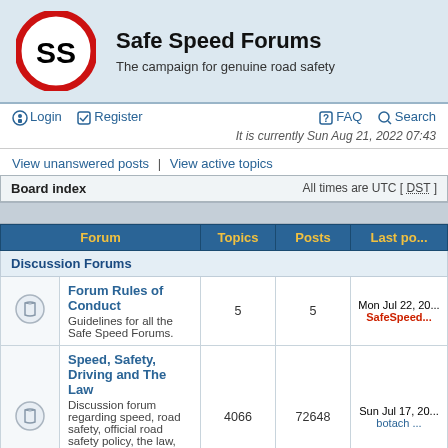[Figure (logo): Safe Speed Forums logo: red circle with 'SS' text inside, resembling a speed limit sign]
Safe Speed Forums
The campaign for genuine road safety
Login | Register | FAQ | Search
It is currently Sun Aug 21, 2022 07:43
View unanswered posts | View active topics
| Forum | Topics | Posts | Last po... |
| --- | --- | --- | --- |
| Discussion Forums |  |  |  |
| Forum Rules of Conduct
Guidelines for all the Safe Speed Forums. | 5 | 5 | Mon Jul 22, 20...
SafeSpeed... |
| Speed, Safety, Driving and The Law
Discussion forum regarding speed, road safety, official road safety policy, the law, law enforcement, driver training, advanced driving and | 4066 | 72648 | Sun Jul 17, 20...
botach ... |